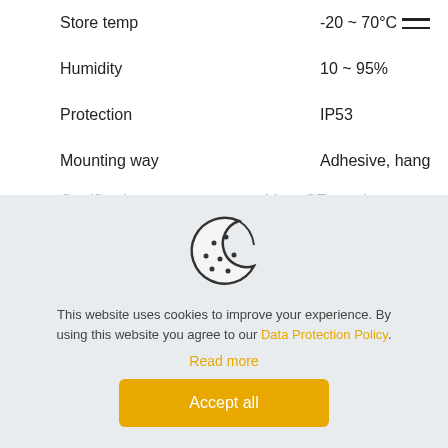| Property | Value |
| --- | --- |
| Store temp | -20 ~ 70°C |
| Humidity | 10 ~ 95% |
| Protection | IP53 |
| Mounting way | Adhesive, hang |
| Certification | Meet CE requirement |
[Figure (illustration): Cookie consent icon: a cookie with a bite taken out, outline style with dots representing chocolate chips]
This website uses cookies to improve your experience. By using this website you agree to our Data Protection Policy.
Read more
Accept all